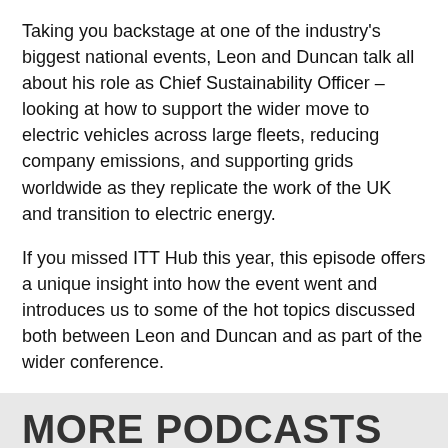Taking you backstage at one of the industry's biggest national events, Leon and Duncan talk all about his role as Chief Sustainability Officer – looking at how to support the wider move to electric vehicles across large fleets, reducing company emissions, and supporting grids worldwide as they replicate the work of the UK and transition to electric energy.
If you missed ITT Hub this year, this episode offers a unique insight into how the event went and introduces us to some of the hot topics discussed both between Leon and Duncan and as part of the wider conference.
MORE PODCASTS
[Figure (photo): Podcast thumbnail for 'Lunch with Leon' showing a man's face on the left side with blue background and the text 'LUNCH WITH LEON' in large white bold letters.]
[Figure (photo): Podcast thumbnail for 'Talking Net Zero' showing a man's face on a dark blue background with the text 'NET ZERO' in large white bold letters and 'TALKING' above it.]